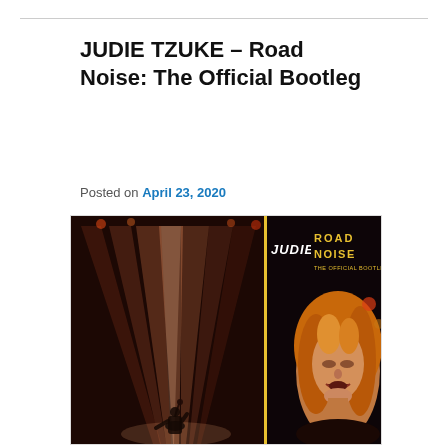JUDIE TZUKE – Road Noise: The Official Bootleg
Posted on April 23, 2020
[Figure (photo): Album cover for Judie Tzuke – Road Noise: The Official Bootleg. Left side shows a concert stage with dramatic light beams in red/purple, performer silhouette with microphone. Right side shows a dark background with 'JUDIE TZUKE' in large white italic letters at top, 'ROAD NOISE THE OFFICIAL BOOTLEG' in yellow text on right panel, and a close-up portrait of a blonde woman (Judie Tzuke) on the right.]